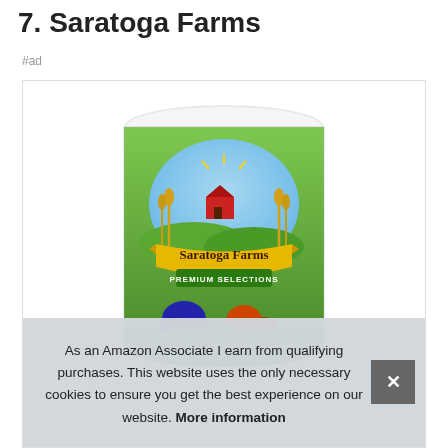7. Saratoga Farms
#ad
[Figure (photo): A large can of Saratoga Farms Premium Selections product, showing the brand label with an illustrated farm scene, wheat stalks, and a banner reading 'Saratoga Farms PREMIUM SELECTIONS', with fruit and berry imagery at the bottom.]
As an Amazon Associate I earn from qualifying purchases. This website uses the only necessary cookies to ensure you get the best experience on our website. More information